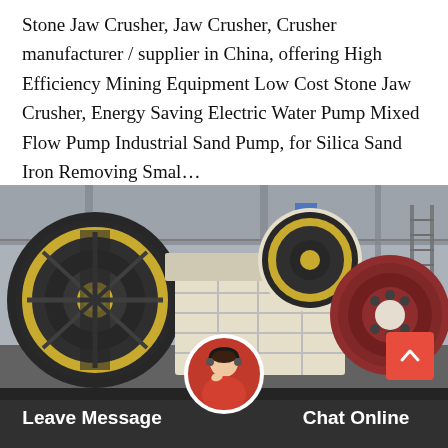Stone Jaw Crusher, Jaw Crusher, Crusher manufacturer / supplier in China, offering High Efficiency Mining Equipment Low Cost Stone Jaw Crusher, Energy Saving Electric Water Pump Mixed Flow Pump Industrial Sand Pump, for Silica Sand Iron Removing Smal…
[Figure (photo): Industrial jaw crusher machines in a factory setting. Large heavy machinery with prominent flywheels visible — one black-and-gold on the left, one red-and-white on the right. The crusher bodies are painted cream/white with structural ribbing. Background shows a grey industrial warehouse with metal framework and fluorescent lighting.]
Leave Message   Chat Online